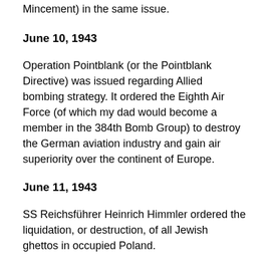Mincement) in the same issue.
June 10, 1943
Operation Pointblank (or the Pointblank Directive) was issued regarding Allied bombing strategy. It ordered the Eighth Air Force (of which my dad would become a member in the 384th Bomb Group) to destroy the German aviation industry and gain air superiority over the continent of Europe.
June 11, 1943
SS Reichsführer Heinrich Himmler ordered the liquidation, or destruction, of all Jewish ghettos in occupied Poland.
June 21, 1943
The Allies advanced to New Georgia in the Solomon